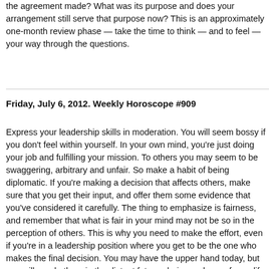the agreement made? What was its purpose and does your arrangement still serve that purpose now? This is an approximately one-month review phase — take the time to think — and to feel — your way through the questions.
Friday, July 6, 2012. Weekly Horoscope #909
Express your leadership skills in moderation. You will seem bossy if you don't feel within yourself. In your own mind, you're just doing your job and fulfilling your mission. To others you may seem to be swaggering, arbitrary and unfair. So make a habit of being diplomatic. If you're making a decision that affects others, make sure that you get their input, and offer them some evidence that you've considered it carefully. The thing to emphasize is fairness, and remember that what is fair in your mind may not be so in the perception of others. This is why you need to make the effort, even if you're in a leadership position where you get to be the one who makes the final decision. You may have the upper hand today, but you will need others in the distant future, during a phase of your life when your negotiation skills will matter. So I suggest you make a point of refining them now.